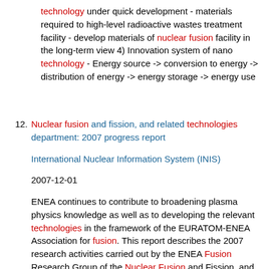technology under quick development - materials required to high-level radioactive wastes treatment facility - develop materials of nuclear fusion facility in the long-term view 4) Innovation system of nano technology - Energy source -> conversion to energy -> distribution of energy -> energy storage -> energy use
12. Nuclear fusion and fission, and related technologies department: 2007 progress report

International Nuclear Information System (INIS)

2007-12-01

ENEA continues to contribute to broadening plasma physics knowledge as well as to developing the relevant technologies in the framework of the EURATOM-ENEA Association for fusion. This report describes the 2007 research activities carried out by the ENEA Fusion Research Group of the Nuclear Fusion and Fission, and Related Technologies Department (FPN). Other ENEA research groups also contributed to the activities. The following fields were addressed: magnetically confined nuclear fusion (physics and technology), superconductivity and inertial